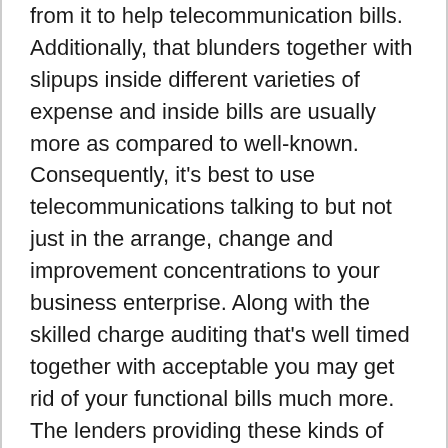from it to help telecommunication bills. Additionally, that blunders together with slipups inside different varieties of expense and inside bills are usually more as compared to well-known. Consequently, it's best to use telecommunications talking to but not just in the arrange, change and improvement concentrations to your business enterprise. Along with the skilled charge auditing that's well timed together with acceptable you may get rid of your functional bills much more. The lenders providing these kinds of solutions offer telecommunication info test together with certain job direction, that could be vital for a treatments. An additional issue, that the telecommunications experts will assist you to, is usually crunch direction. Regardless of the odd great satisfaction with better technology along with the flexibility in the facilities, a lot of these together with consequently your enterprise may be suffering adversely just by process outages together with all